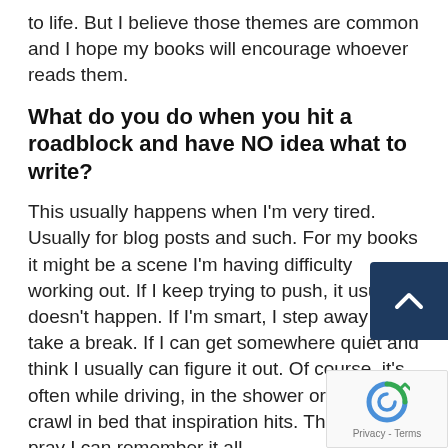to life. But I believe those themes are common and I hope my books will encourage whoever reads them.
What do you do when you hit a roadblock and have NO idea what to write?
This usually happens when I'm very tired. Usually for blog posts and such. For my books it might be a scene I'm having difficulty working out. If I keep trying to push, it usually doesn't happen. If I'm smart, I step away and take a break. If I can get somewhere quiet and think I usually can figure it out. Of course, it's often while driving, in the shower or after I crawl in bed that inspiration hits. Then I just pray I can remember it all
What is one thing that you "never saw yourself doing" and either do it now or have done?
Being active on social media and building my own website. Three years ago, before I was offered a